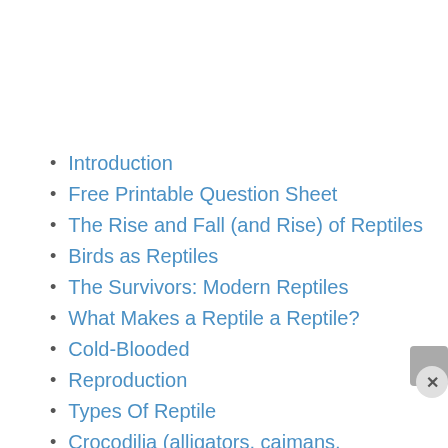Introduction
Free Printable Question Sheet
The Rise and Fall (and Rise) of Reptiles
Birds as Reptiles
The Survivors: Modern Reptiles
What Makes a Reptile a Reptile?
Cold-Blooded
Reproduction
Types Of Reptile
Crocodilia (alligators, caimans, crocodiles and gavials)
Rhynchocephalia (tuataras)
Squamata (lizards and snakes)